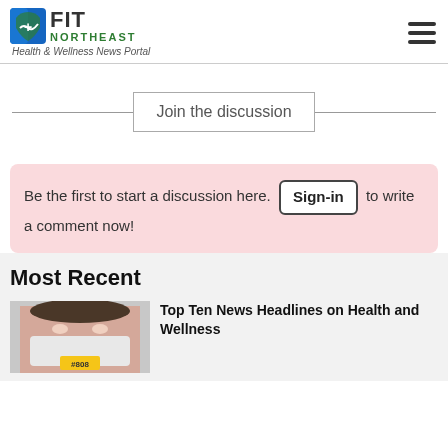FIT NORTHEAST — Health & Wellness News Portal
Join the discussion
Be the first to start a discussion here. Sign-in to write a comment now!
Most Recent
[Figure (photo): Thumbnail image of a person wearing a face mask with a yellow label #808]
Top Ten News Headlines on Health and Wellness